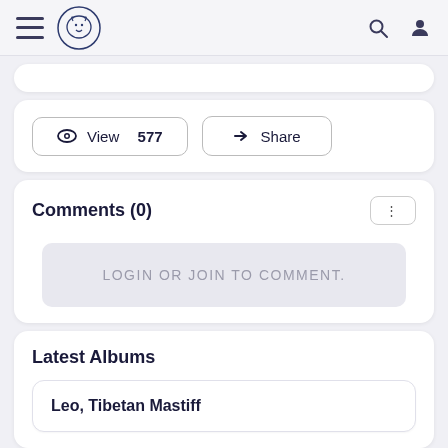Navigation bar with hamburger menu, logo, search and profile icons
View  577
Share
Comments (0)
LOGIN OR JOIN TO COMMENT.
Latest Albums
Leo, Tibetan Mastiff